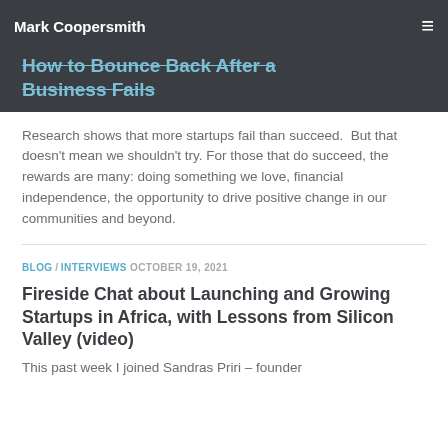Mark Coopersmith
How to Bounce Back After a Business Fails
Research shows that more startups fail than succeed.  But that doesn't mean we shouldn't try.  For those that do succeed, the rewards are many: doing something we love, financial independence, the opportunity to drive positive change in our communities and beyond.
BLOG / INTERVIEWS  OCTOBER 19, 2021
Fireside Chat about Launching and Growing Startups in Africa, with Lessons from Silicon Valley (video)
This past week I joined Sandras Priri – founder